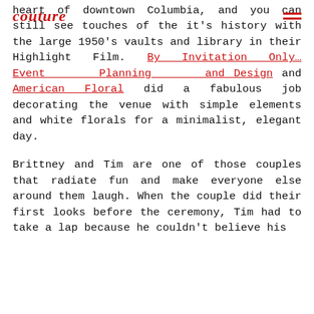couture
heart of downtown Columbia, and you can still see touches of the it's history with the large 1950's vaults and library in their Highlight Film. By Invitation Only…Event Planning and Design and American Floral did a fabulous job decorating the venue with simple elements and white florals for a minimalist, elegant day.
Brittney and Tim are one of those couples that radiate fun and make everyone else around them laugh. When the couple did their first looks before the ceremony, Tim had to take a lap because he couldn't believe his